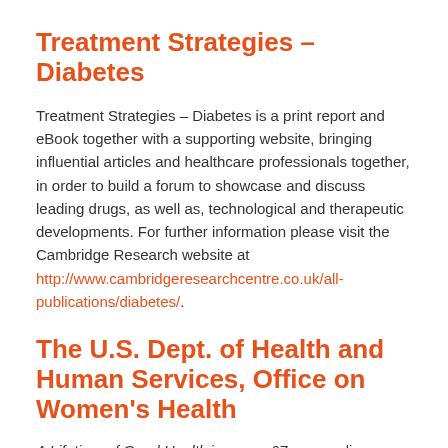Treatment Strategies – Diabetes
Treatment Strategies – Diabetes is a print report and eBook together with a supporting website, bringing influential articles and healthcare professionals together, in order to build a forum to showcase and discuss leading drugs, as well as, technological and therapeutic developments. For further information please visit the Cambridge Research website at http://www.cambridgeresearchcentre.co.uk/all-publications/diabetes/.
The U.S. Dept. of Health and Human Services, Office on Women's Health
A Lifetime of Good Health is a new 67 page online booklet to help women of all ages understand their health needs better. This is a guide to understanding health risks at every age. This also provides an easy-to-read chart outlining medical tests and screenings recommended for women at different stages